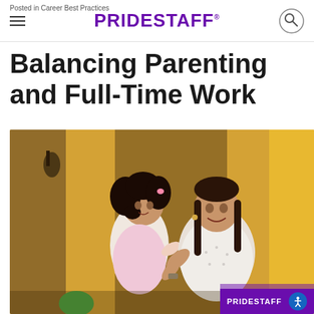Posted in Career Best Practices | PRIDESTAFF
Balancing Parenting and Full-Time Work
[Figure (photo): A smiling young woman hugging a small girl with curly dark hair in front of a house with a yellow wall and dark front door. The woman is wearing a white patterned top and the child appears to be wearing a pink outfit with a small hair clip. The image has a warm, happy tone suggesting a working mother and daughter.]